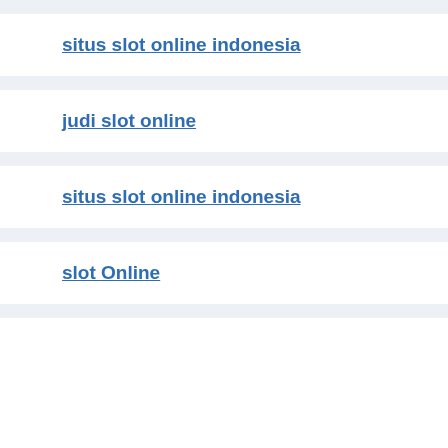situs slot online indonesia
judi slot online
situs slot online indonesia
slot Online